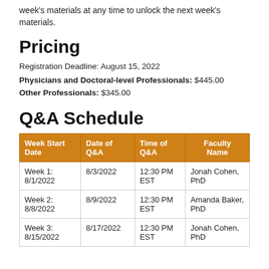week's materials at any time to unlock the next week's materials.
Pricing
Registration Deadline: August 15, 2022
Physicians and Doctoral-level Professionals: $445.00
Other Professionals: $345.00
Q&A Schedule
| Week Start Date | Date of Q&A | Time of Q&A | Faculty Name |
| --- | --- | --- | --- |
| Week 1:
8/1/2022 | 8/3/2022 | 12:30 PM EST | Jonah Cohen, PhD |
| Week 2:
8/8/2022 | 8/9/2022 | 12:30 PM EST | Amanda Baker, PhD |
| Week 3:
8/15/2022 | 8/17/2022 | 12:30 PM EST | Jonah Cohen, PhD |